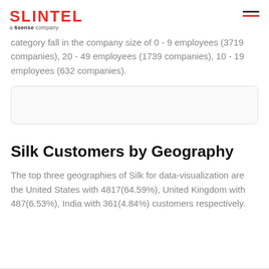SLINTEL a 6sense company
category fall in the company size of 0 - 9 employees (3719 companies), 20 - 49 employees (1739 companies), 10 - 19 employees (632 companies).
[Figure (other): Empty placeholder box with light border]
Silk Customers by Geography
The top three geographies of Silk for data-visualization are the United States with 4817(64.59%), United Kingdom with 487(6.53%), India with 361(4.84%) customers respectively.